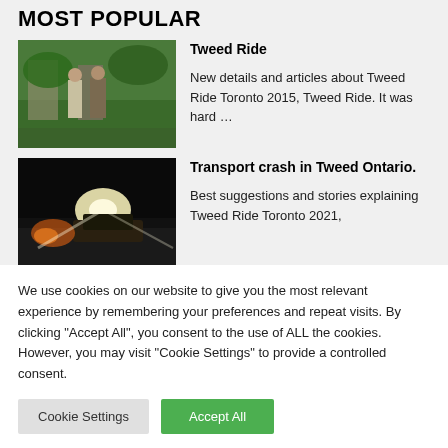MOST POPULAR
[Figure (photo): Two people in vintage clothing standing outdoors in a park, Tweed Ride event]
Tweed Ride
New details and articles about Tweed Ride Toronto 2015, Tweed Ride. It was hard …
[Figure (photo): Night scene with a vehicle and bright lights on a road, Transport crash in Tweed Ontario]
Transport crash in Tweed Ontario.
Best suggestions and stories explaining Tweed Ride Toronto 2021,
We use cookies on our website to give you the most relevant experience by remembering your preferences and repeat visits. By clicking "Accept All", you consent to the use of ALL the cookies. However, you may visit "Cookie Settings" to provide a controlled consent.